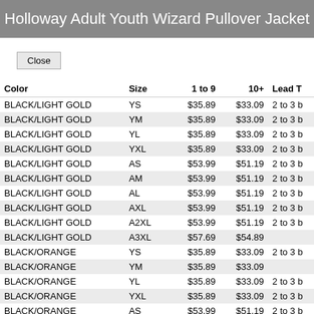Holloway Adult Youth Wizard Pullover Jacket
| Color | Size | 1 to 9 | 10+ | Lead T |
| --- | --- | --- | --- | --- |
| BLACK/LIGHT GOLD | YS | $35.89 | $33.09 | 2 to 3 b |
| BLACK/LIGHT GOLD | YM | $35.89 | $33.09 | 2 to 3 b |
| BLACK/LIGHT GOLD | YL | $35.89 | $33.09 | 2 to 3 b |
| BLACK/LIGHT GOLD | YXL | $35.89 | $33.09 | 2 to 3 b |
| BLACK/LIGHT GOLD | AS | $53.99 | $51.19 | 2 to 3 b |
| BLACK/LIGHT GOLD | AM | $53.99 | $51.19 | 2 to 3 b |
| BLACK/LIGHT GOLD | AL | $53.99 | $51.19 | 2 to 3 b |
| BLACK/LIGHT GOLD | AXL | $53.99 | $51.19 | 2 to 3 b |
| BLACK/LIGHT GOLD | A2XL | $53.99 | $51.19 | 2 to 3 b |
| BLACK/LIGHT GOLD | A3XL | $57.69 | $54.89 |  |
| BLACK/ORANGE | YS | $35.89 | $33.09 | 2 to 3 b |
| BLACK/ORANGE | YM | $35.89 | $33.09 |  |
| BLACK/ORANGE | YL | $35.89 | $33.09 | 2 to 3 b |
| BLACK/ORANGE | YXL | $35.89 | $33.09 | 2 to 3 b |
| BLACK/ORANGE | AS | $53.99 | $51.19 | 2 to 3 b |
| BLACK/ORANGE | AM | $53.99 | $51.19 | 2 to 3 b |
| BLACK/ORANGE | AL | $53.99 | $51.19 | 2 to 3 b |